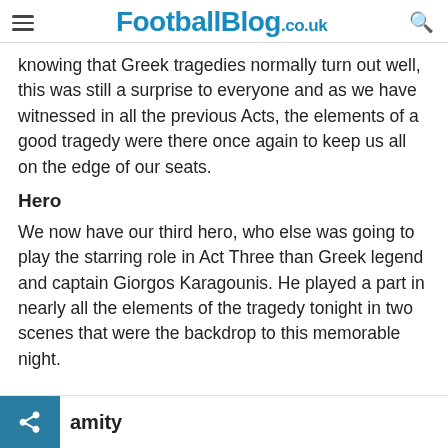FootballBlog.co.uk
knowing that Greek tragedies normally turn out well, this was still a surprise to everyone and as we have witnessed in all the previous Acts, the elements of a good tragedy were there once again to keep us all on the edge of our seats.
Hero
We now have our third hero, who else was going to play the starring role in Act Three than Greek legend and captain Giorgos Karagounis. He played a part in nearly all the elements of the tragedy tonight in two scenes that were the backdrop to this memorable night.
amity